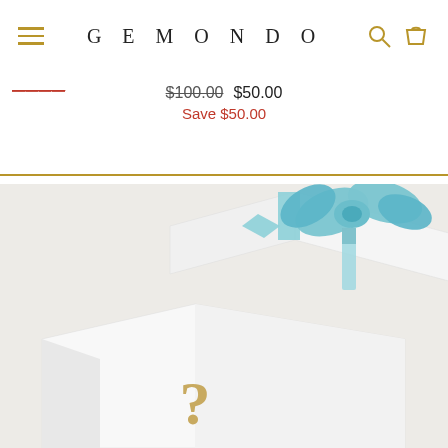GEMONDO
$100.00 $50.00 Save $50.00
[Figure (photo): An open white gift box with a blue ribbon bow on the lid, revealing an empty inside with a gold question mark printed on the front face of the box, set against a light gray background.]